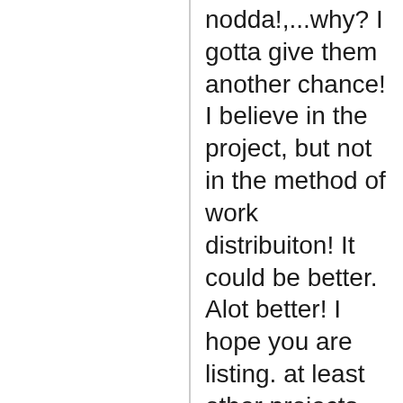nodda!,...why? I gotta give them another chance! I believe in the project, but not in the method of work distribuiton! It could be better. Alot better! I hope you are listing. at least other projects do listen to thier crunchers. I wouldn't dream of telling you how to run your project, only how to keep your boxes happy! just listen!!